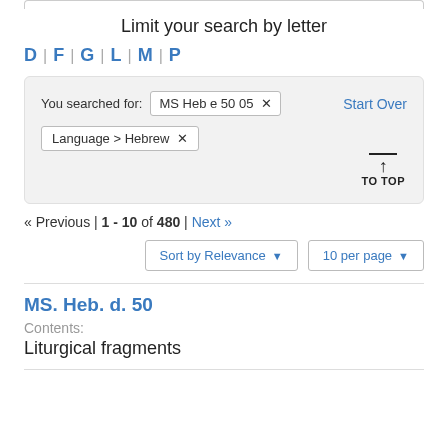Limit your search by letter
D | F | G | L | M | P
You searched for: MS Heb e 50 05 ✕   Start Over
Language > Hebrew ✕
TO TOP
« Previous | 1 - 10 of 480 | Next »
Sort by Relevance ▾   10 per page ▾
MS. Heb. d. 50
Contents:
Liturgical fragments